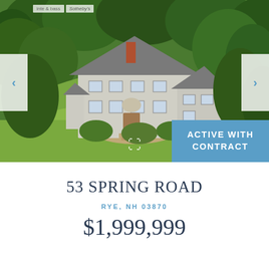[Figure (photo): Aerial drone photo of a large colonial-style house with gray shingle roof, white/gray exterior, surrounded by lush green trees and manicured lawn. Navigation arrows on left and right sides. Sotheby's logo in top left. Active With Contract badge in bottom right corner.]
53 SPRING ROAD
RYE, NH 03870
$1,999,999